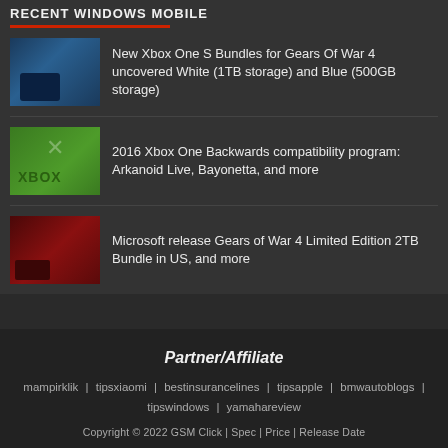RECENT WINDOWS MOBILE
New Xbox One S Bundles for Gears Of War 4 uncovered White (1TB storage) and Blue (500GB storage)
2016 Xbox One Backwards compatibility program: Arkanoid Live, Bayonetta, and more
Microsoft release Gears of War 4 Limited Edition 2TB Bundle in US, and more
Partner/Affiliate
mampirklik | tipsxiaomi | bestinsurancelines | tipsapple | bmwautoblogs | tipswindows | yamahareview
Copyright © 2022 GSM Click | Spec | Price | Release Date